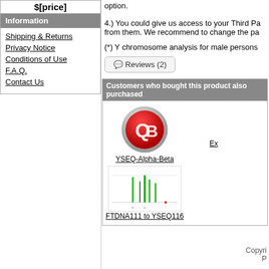$[price]
Information
Shipping & Returns
Privacy Notice
Conditions of Use
F.A.Q.
Contact Us
option.
4.) You could give us access to your Third Pa from them. We recommend to change the pa
(*) Y chromosome analysis for male persons
Reviews (2)
Customers who bought this product also purchased
[Figure (logo): Red circular logo with stylized Q and B letters]
YSEQ-Alpha-Beta
[Figure (other): Chromatogram/sequencing chart image]
FTDNA111 to YSEQ116
Ex
Copyri P